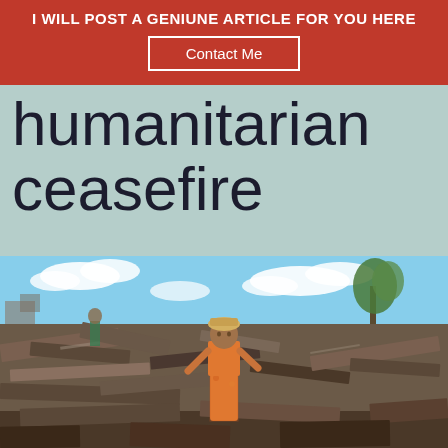I WILL POST A GENIUNE ARTICLE FOR YOU HERE
Contact Me
humanitarian ceasefire
[Figure (photo): Person standing amid rubble and destroyed structures in what appears to be a conflict or disaster zone. The person wears a colorful floral outfit. Background shows blue sky with clouds, a tree, and scattered debris.]